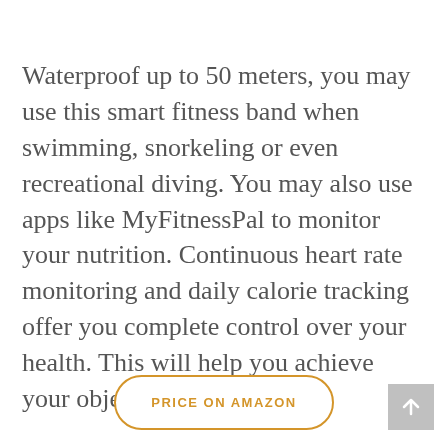Waterproof up to 50 meters, you may use this smart fitness band when swimming, snorkeling or even recreational diving. You may also use apps like MyFitnessPal to monitor your nutrition. Continuous heart rate monitoring and daily calorie tracking offer you complete control over your health. This will help you achieve your objectives quickly.
PRICE ON AMAZON